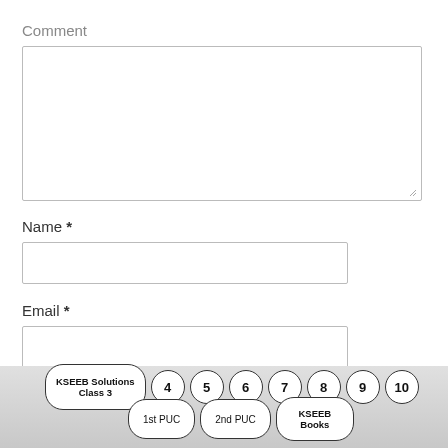Comment
[Figure (other): Comment text area input box (empty, with resize handle)]
Name *
[Figure (other): Name text input box (empty)]
Email *
[Figure (other): Email text input box (empty)]
[Figure (other): Footer navigation pills row: KSEEB Solutions Class 3, 4, 5, 6, 7, 8, 9, 10, 1st PUC, 2nd PUC, KSEEB Books]